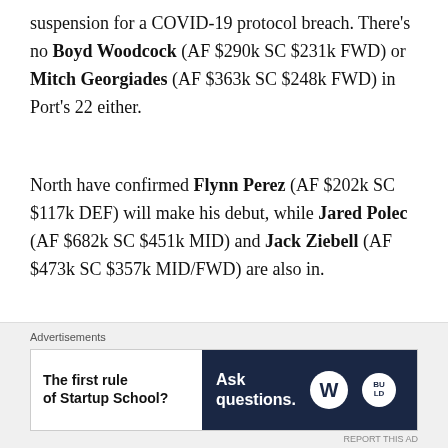suspension for a COVID-19 protocol breach. There's no Boyd Woodcock (AF $290k SC $231k FWD) or Mitch Georgiades (AF $363k SC $248k FWD) in Port's 22 either.
North have confirmed Flynn Perez (AF $202k SC $117k DEF) will make his debut, while Jared Polec (AF $682k SC $451k MID) and Jack Ziebell (AF $473k SC $357k MID/FWD) are also in.
Perez was pick 35 in the AFL 2019 Draft. Shaw said: "Flynn is a really exciting talent. He's a running defender and really exciting talent. He'll take the game on, and I can't wait to see him get his first touch."
[Figure (other): Advertisement banner: left side white background with bold text 'The first rule of Startup School?', right side dark navy background with text 'Ask questions.' and WordPress logo plus secondary logo]